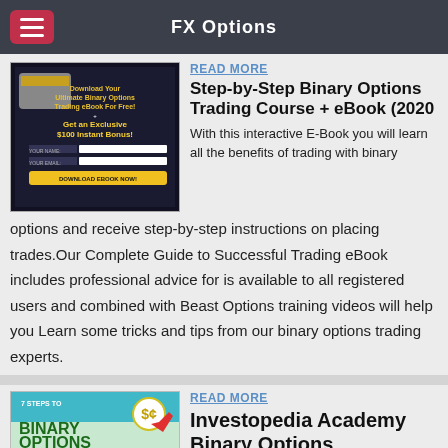FX Options
READ MORE
Step-by-Step Binary Options Trading Course + eBook (2020
With this interactive E-Book you will learn all the benefits of trading with binary options and receive step-by-step instructions on placing trades.Our Complete Guide to Successful Trading eBook includes professional advice for is available to all registered users and combined with Beast Options training videos will help you Learn some tricks and tips from our binary options trading experts.
READ MORE
Investopedia Academy Binary Options